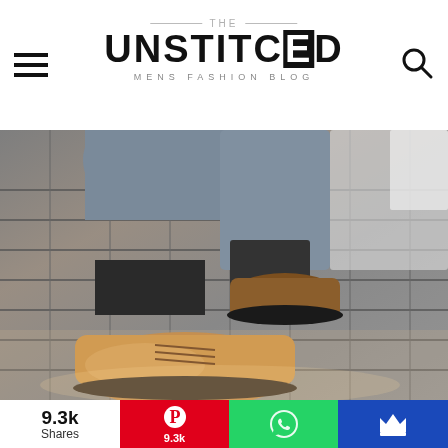THE UNSTITCHED — MENS FASHION BLOG
[Figure (photo): Close-up photo of a man wearing grey trousers, dark socks, and tan/brown leather Oxford derby shoes standing on cobblestone pavement]
9.3k Shares
[Figure (logo): Pinterest share button with 9.3k count]
[Figure (logo): WhatsApp share button]
[Figure (logo): Crown/King share button]